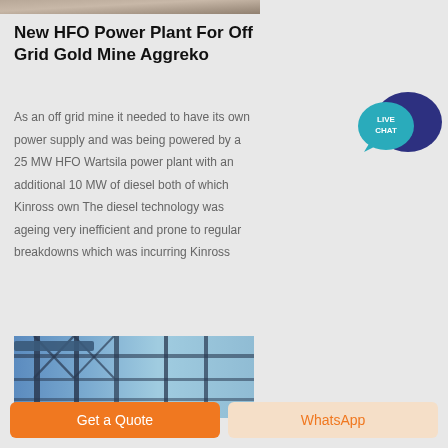[Figure (photo): Top portion of an industrial/power plant image, partially cropped]
New HFO Power Plant For Off Grid Gold Mine Aggreko
As an off grid mine it needed to have its own power supply and was being powered by a 25 MW HFO Wartsila power plant with an additional 10 MW of diesel both of which Kinross own The diesel technology was ageing very inefficient and prone to regular breakdowns which was incurring Kinross
[Figure (photo): Industrial power plant structure with blue steel framework and pipes]
[Figure (logo): Live Chat speech bubble icon in teal and dark blue]
Get a Quote
WhatsApp